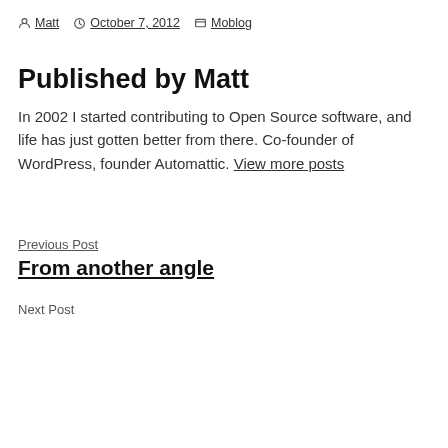By Matt  October 7, 2012  Moblog
Published by Matt
In 2002 I started contributing to Open Source software, and life has just gotten better from there. Co-founder of WordPress, founder Automattic. View more posts
Previous Post
From another angle
Next Post